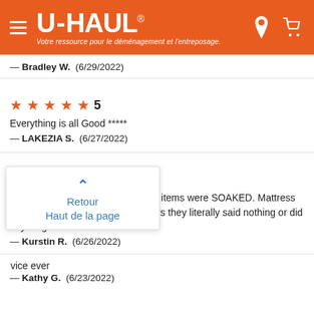[Figure (screenshot): U-Haul website header with orange background, hamburger menu, U-Haul logo with tagline 'Votre ressource pour le déménagement et l'entreposage.', location pin icon and cart icon]
— Bradley W.  (6/29/2022)
★★★★★ 5
Everything is all Good *****
— LAKEZIA S.  (6/27/2022)
★★☆☆☆ 2
Truck had a leak in it and all of my items were SOAKED. Mattress & All. And when we told the workers they literally said nothing or did anything about it!!! 0/10 service.
— Kurstin R.  (6/26/2022)
Retour
Haut de la page
...vice ever
— Kathy G.  (6/23/2022)